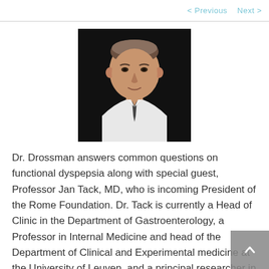< Previous  Next >
[Figure (photo): Portrait photo of Dr. Drossman, a middle-aged man wearing a white shirt and dark tie, photographed against a dark background.]
Dr. Drossman answers common questions on functional dyspepsia along with special guest, Professor Jan Tack, MD, who is incoming President of the Rome Foundation. Dr. Tack is currently a Head of Clinic in the Department of Gastroenterology, a Professor in Internal Medicine and head of the Department of Clinical and Experimental medicine at the University of Leuven, and a principal researcher in TARGID (the